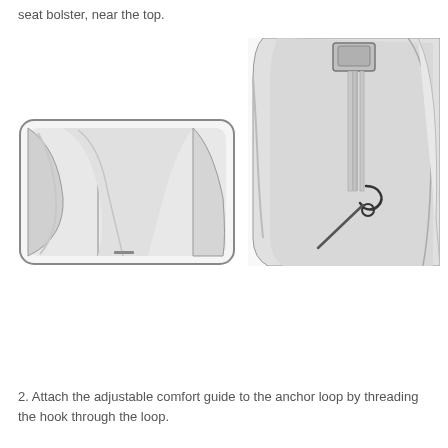seat bolster, near the top.
[Figure (illustration): Close-up illustration of a car seat bolster showing the seat fabric and a clip or hook attachment near the top.]
[Figure (illustration): Illustration of a car seat showing the seatbelt anchor area with a loop and hook mechanism on the seat side bolster.]
2. Attach the adjustable comfort guide to the anchor loop by threading the hook through the loop.